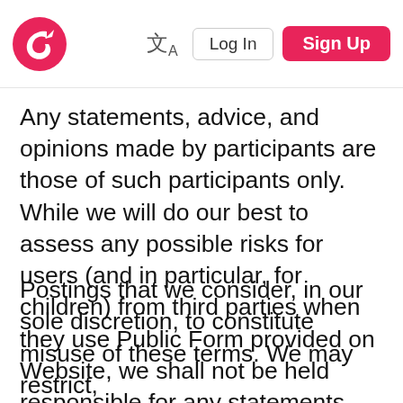[Figure (logo): Quora-style logo: pink circle with white bird/arrow icon]
文A  Log In  Sign Up
Any statements, advice, and opinions made by participants are those of such participants only. While we will do our best to assess any possible risks for users (and in particular, for children) from third parties when they use Public Form provided on Website, we shall not be held responsible for any statements, advice, opinions, or other content or materials on Public Forums. You release us from all claims and demands of every kind and nature, known and unknown, arising out of or in any way
By using our site, you acknowledge that you have read and understand our Privacy & Cookie Policy as well as our Terms of Use.
OK
Postings that we consider, in our sole discretion, to constitute misuse of these terms. We may restrict,